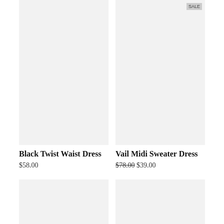[Figure (photo): Product image placeholder for Black Twist Waist Dress, light gray background]
[Figure (photo): Product image placeholder for Vail Midi Sweater Dress, light gray background, sale badge in top right corner]
Black Twist Waist Dress
$58.00
Vail Midi Sweater Dress
$78.00 $39.00
[Figure (photo): Product image placeholder, bottom left, light gray background]
[Figure (photo): Product image placeholder, bottom right, light gray background]